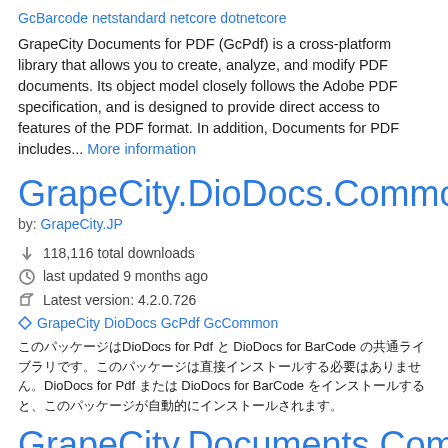GcBarcode netstandard netcore dotnetcore
GrapeCity Documents for PDF (GcPdf) is a cross-platform library that allows you to create, analyze, and modify PDF documents. Its object model closely follows the Adobe PDF specification, and is designed to provide direct access to features of the PDF format. In addition, Documents for PDF includes... More information
GrapeCity.DioDocs.Common.ja
by: GrapeCity.JP
↓ 118,116 total downloads
last updated 9 months ago
Latest version: 4.2.0.726
GrapeCity DioDocs GcPdf GcCommon
DioDocs for Pdf と DioDocs for BarCode の共通ライブラリです。このパッケージは直接インストールする必要はありません。DioDocs for Pdf または DioDocs for BarCode をインストールすると、このパッケージが自動的にインストールされます。
GrapeCity.Documents.Common.Wi...